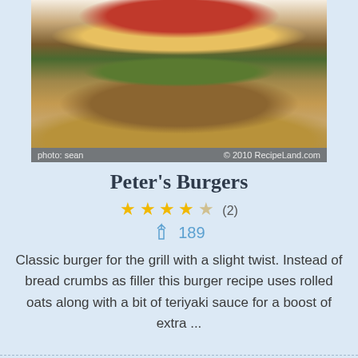[Figure (photo): A large burger with bacon, melted cheese, and lettuce on a toasted bun, served on white background]
photo: sean © 2010 RecipeLand.com
Peter's Burgers
★★★★☆ (2)
↑ 189
Classic burger for the grill with a slight twist. Instead of bread crumbs as filler this burger recipe uses rolled oats along with a bit of teriyaki sauce for a boost of extra ...
[Figure (photo): A plate of spaghetti with meat sauce and cheese, with a fork, on a light background]